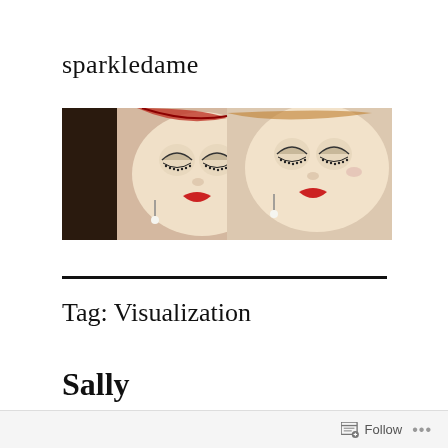sparkledame
[Figure (photo): Two cute doll faces with closed eyes, eyelashes, and red heart-shaped mouths, with decorative hair accessories]
Tag: Visualization
Sally
Follow ...